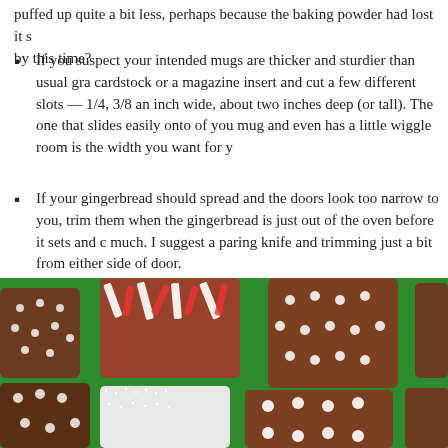puffed up quite a bit less, perhaps because the baking powder had lost it s by this time?
If you suspect your intended mugs are thicker and sturdier than usual gra cardstock or a magazine insert and cut a few different slots — 1/4, 3/8 an inch wide, about two inches deep (or tall). The one that slides easily onto of you mug and even has a little wiggle room is the width you want for y
If your gingerbread should spread and the doors look too narrow to you, trim them when the gingerbread is just out of the oven before it sets and c much. I suggest a paring knife and trimming just a bit from either side of door.
[Figure (photo): Photo of decorated gingerbread mug toppers on a green background, showing various decorations including crushed candy canes, white sugar crystals, and snowflake icing patterns.]